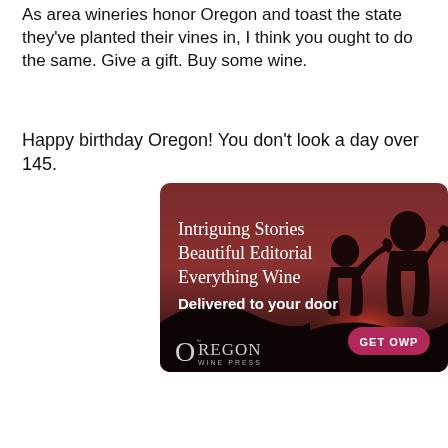As area wineries honor Oregon and toast the state they've planted their vines in, I think you ought to do the same. Give a gift. Buy some wine.
Happy birthday Oregon! You don't look a day over 145.
[Figure (infographic): Oregon Wine Press advertisement with dark reddish-brown background showing silhouettes of people drinking wine at sunset. Text reads: 'Intriguing Stories Beautiful Editorial Everything Wine Delivered to your door' with a pink 'GET OWP' button and Oregon Wine Press logo at bottom left.]